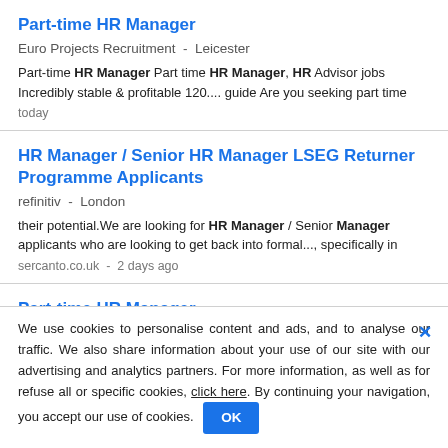Part-time HR Manager
Euro Projects Recruitment  -  Leicester
Part-time HR Manager Part time HR Manager, HR Advisor jobs Incredibly stable & profitable 120.... guide Are you seeking part time today
HR Manager / Senior HR Manager LSEG Returner Programme Applicants
refinitiv  -  London
their potential.We are looking for HR Manager / Senior Manager applicants who are looking to get back into formal..., specifically in
sercanto.co.uk  -  2 days ago
Part-time HR Manager
We use cookies to personalise content and ads, and to analyse our traffic. We also share information about your use of our site with our advertising and analytics partners. For more information, as well as for refuse all or specific cookies, click here. By continuing your navigation, you accept our use of cookies.